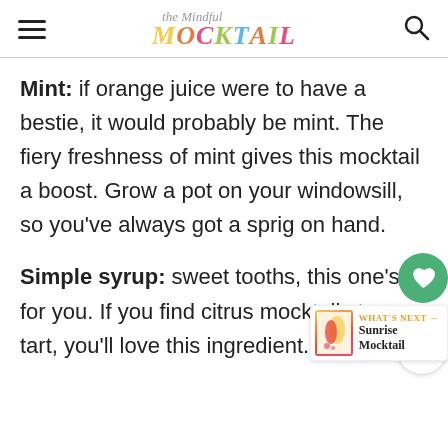the Mindful MOCKTAIL
Mint: if orange juice were to have a bestie, it would probably be mint. The fiery freshness of mint gives this mocktail a boost. Grow a pot on your windowsill, so you've always got a sprig on hand.
Simple syrup: sweet tooths, this one's for you. If you find citrus mocktails too tart, you'll love this ingredient. Simple